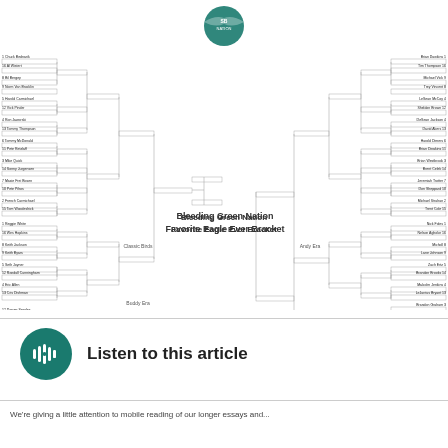[Figure (other): Bleeding Green Nation Favorite Eagle Ever Bracket - tournament bracket showing Eagles players across four regions: Classic Birds, Buddy Era, Andy Era, Super Bowl Champs. Features SB Nation eagle logo at top center.]
Bleeding Green Nation
Favorite Eagle Ever Bracket
Listen to this article
We're giving a little attention to mobile reading of our longer essays and...